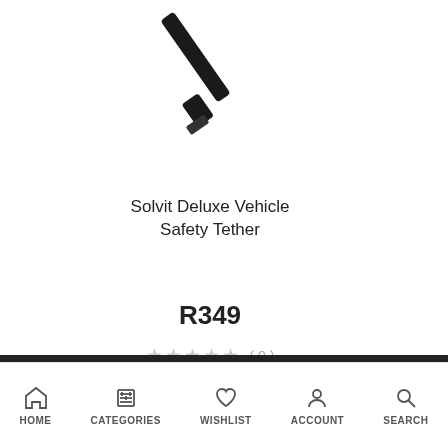[Figure (photo): Black Solvit Deluxe Vehicle Safety Tether product photo on white background]
Solvit Deluxe Vehicle Safety Tether
R349
★★★★★ (0)
LOAD MORE
HOME  CATEGORIES  WISHLIST  ACCOUNT  SEARCH